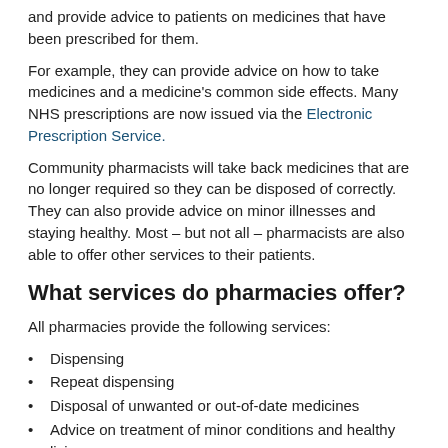and provide advice to patients on medicines that have been prescribed for them.
For example, they can provide advice on how to take medicines and a medicine's common side effects. Many NHS prescriptions are now issued via the Electronic Prescription Service.
Community pharmacists will take back medicines that are no longer required so they can be disposed of correctly. They can also provide advice on minor illnesses and staying healthy. Most – but not all – pharmacists are also able to offer other services to their patients.
What services do pharmacies offer?
All pharmacies provide the following services:
Dispensing
Repeat dispensing
Disposal of unwanted or out-of-date medicines
Advice on treatment of minor conditions and healthy living